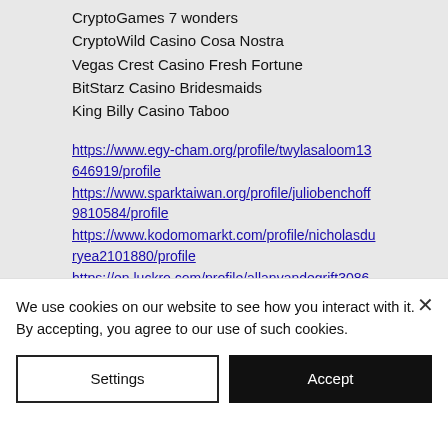CryptoGames 7 wonders
CryptoWild Casino Cosa Nostra
Vegas Crest Casino Fresh Fortune
BitStarz Casino Bridesmaids
King Billy Casino Taboo
https://www.egy-cham.org/profile/twylasaloom13646919/profile https://www.sparktaiwan.org/profile/juliobenchoff9810584/profile https://www.kodomomarkt.com/profile/nicholasduryea2101880/profile https://en.luckro.com/profile/allanvandegrift3086146/profile
We use cookies on our website to see how you interact with it. By accepting, you agree to our use of such cookies.
Settings
Accept